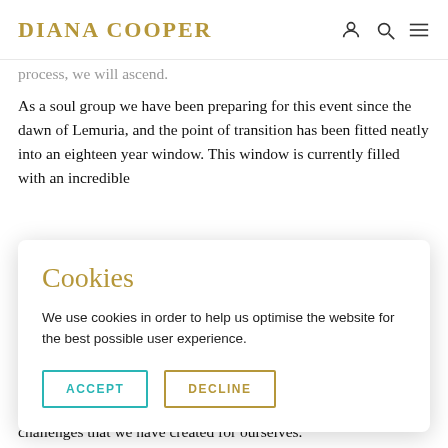DIANA COOPER
process, we will ascend. As a soul group we have been preparing for this event since the dawn of Lemuria, and the point of transition has been fitted neatly into an eighteen year window. This window is currently filled with an incredible
Cookies
We use cookies in order to help us optimise the website for the best possible user experience.
challenges that we have created for ourselves.